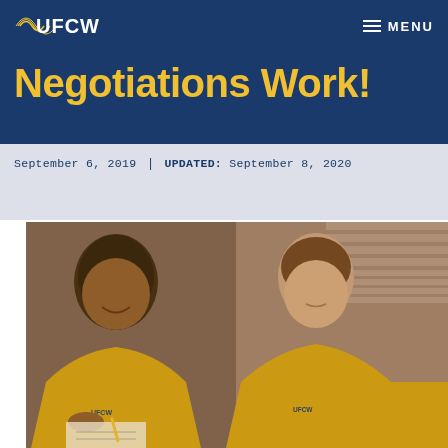UFCW | MENU
Negotiations Work!
September 6, 2019  |  UPDATED: September 8, 2020
[Figure (photo): Two women wearing yellow UFCW branded shirts, appearing to be union members engaged in work or paperwork. The woman on the left is smiling and looking down, the woman on the right is also looking down at something in front of her.]